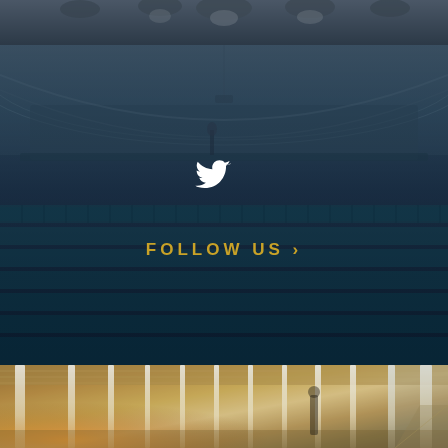[Figure (photo): Top strip showing people/attendees at a conference or meeting, partially visible at top of page]
[Figure (photo): Lecture hall / auditorium with rows of teal/blue seats and curved ceiling, overlaid with semi-transparent dark blue tint, showing a white Twitter bird icon and golden 'FOLLOW US >' call-to-action text in the center]
FOLLOW US >
[Figure (photo): Modern building lobby or corridor with warm golden lighting, tall white vertical light columns/pillars, and large windows]